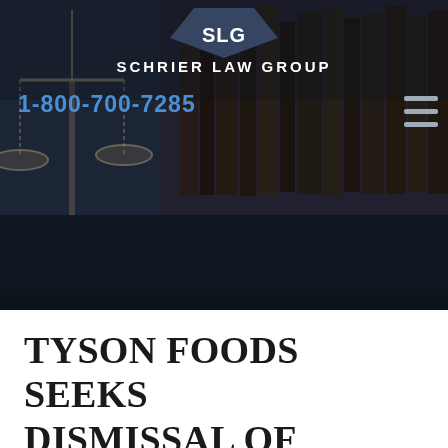[Figure (screenshot): Schrier Law Group website header with logo, phone number 1-800-700-7285, hamburger menu icon, and background image of scales of justice and law books]
TYSON FOODS SEEKS DISMISSAL OF COVID-